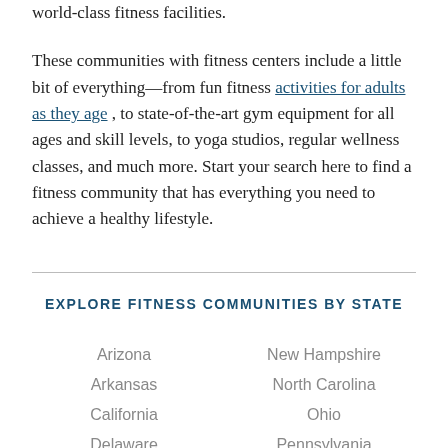world-class fitness facilities.
These communities with fitness centers include a little bit of everything—from fun fitness activities for adults as they age , to state-of-the-art gym equipment for all ages and skill levels, to yoga studios, regular wellness classes, and much more. Start your search here to find a fitness community that has everything you need to achieve a healthy lifestyle.
EXPLORE FITNESS COMMUNITIES BY STATE
Arizona
New Hampshire
Arkansas
North Carolina
California
Ohio
Delaware
Pennsylvania